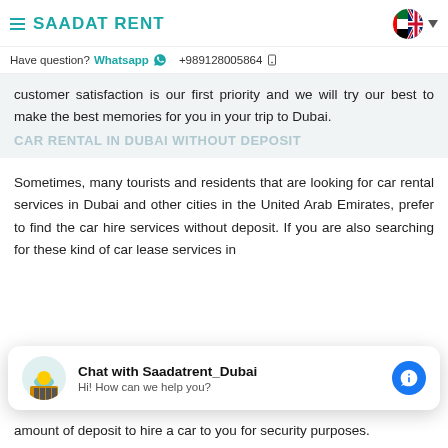SAADAT RENT
Have question? Whatsapp +9891280058640
customer satisfaction is our first priority and we will try our best to make the best memories for you in your trip to Dubai.
CAR RENTAL IN DUBAI WITHOUT DEPOSIT
Sometimes, many tourists and residents that are looking for car rental services in Dubai and other cities in the United Arab Emirates, prefer to find the car hire services without deposit. If you are also searching for these kind of car lease services in Dubai, you have come to the right place first of all you should know that the amount of deposit to hire a car to you for security purposes.
Chat with Saadatrent_Dubai
Hi! How can we help you?
amount of deposit to hire a car to you for security purposes.